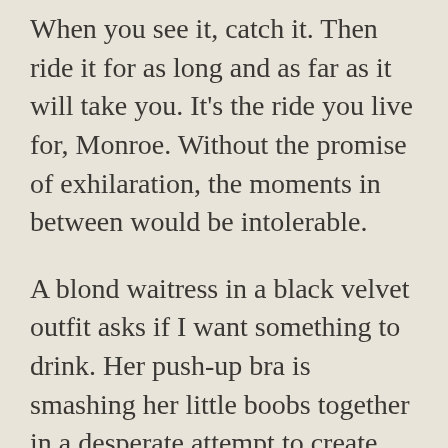When you see it, catch it. Then ride it for as long and as far as it will take you. It's the ride you live for, Monroe. Without the promise of exhilaration, the moments in between would be intolerable.
A blond waitress in a black velvet outfit asks if I want something to drink. Her push-up bra is smashing her little boobs together in a desperate attempt to create some cleavage. I drop a five dollar tip on her tray and tell her my name.
“Nothing for me just yet, hon,” I say. “But maybe if you come back a little